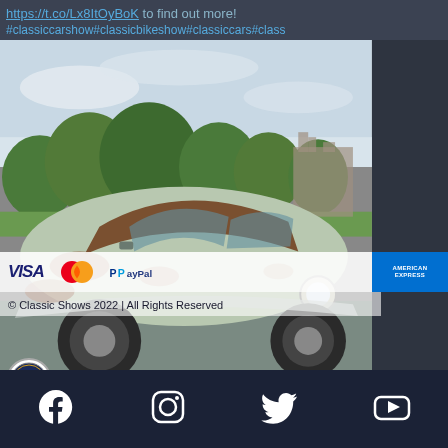https://t.co/Lx8ItOyBoK to find out more! #classiccarshow#classicbikeshow#classiccars#class
[Figure (photo): A vintage/classic car with patchy rust and faded light green paint, photographed outdoors with trees and a historic building in the background. Payment brand logos (Visa, Mastercard, PayPal, American Express) are overlaid, along with copyright text: '© Classic Shows 2022 | All Rights Reserved'.]
© Classic Shows 2022 | All Rights Reserved
[Figure (logo): Round Classic Shows logo badge]
[Figure (infographic): Social media icons: Facebook, Instagram, Twitter, YouTube on dark navy background]